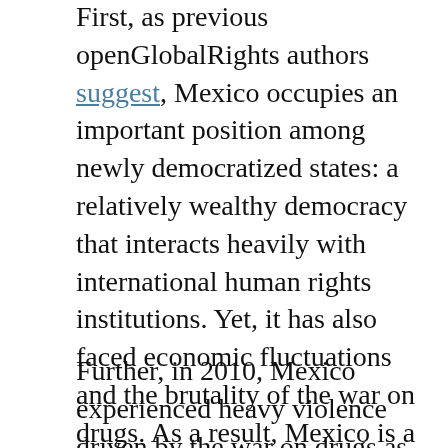First, as previous openGlobalRights authors suggest, Mexico occupies an important position among newly democratized states: a relatively wealthy democracy that interacts heavily with international human rights institutions. Yet, it has also faced economic fluctuations and the brutality of the war on drugs. As a result, Mexico is a crucial site for evaluating the importance of human rights among citizens.
Further, in 2010, Mexico experienced heavy violence driven by the war on drugs as well as the beginnings of its